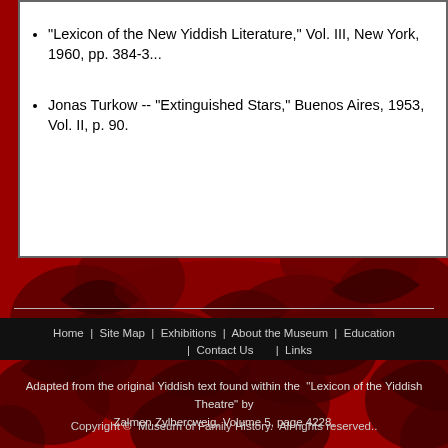"Lexicon of the New Yiddish Literature," Vol. III, New York, 1960, pp. 384-3...
Jonas Turkow -- "Extinguished Stars," Buenos Aires, 1953, Vol. II, p. 90.
[Figure (illustration): Red floral/botanical dark pattern background covering the lower portion of the page]
Home | Site Map | Exhibitions | About the Museum | Education | Contact Us | Links
Adapted from the original Yiddish text found within the "Lexicon of the Yiddish Theatre" by Zalmen Zylbercweig, Volume 5, page 4228.
Copyright © Museum of Family History. All rights reserved..